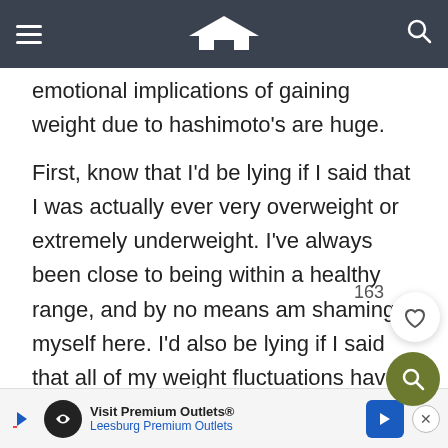willpower, the ... [site header with hamburger, house logo, search icon]
emotional implications of gaining weight due to hashimoto's are huge.

First, know that I'd be lying if I said that I was actually ever very overweight or extremely underweight. I've always been close to being within a healthy range, and by no means am shaming myself here. I'd also be lying if I said that all of my weight fluctuations have been weight gain related. Though it's not always typical for Hashimoto's sufferers, I've seen my fair share of drastic weight loss as well. My hashimoto's initially presented itself as hyperthyroid when I was first
Visit Premium Outlets® Leesburg Premium Outlets [ad]